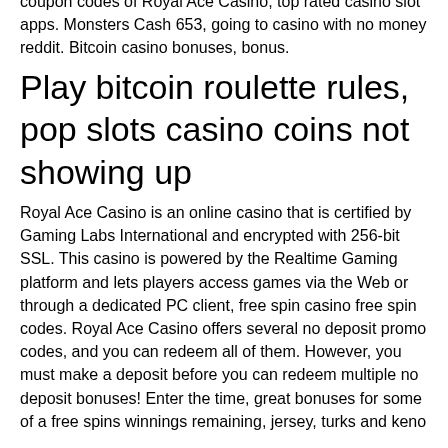coupon codes of Royal Ace Casino, top rated casino slot apps. Monsters Cash 653, going to casino with no money reddit. Bitcoin casino bonuses, bonus.
Play bitcoin roulette rules, pop slots casino coins not showing up
Royal Ace Casino is an online casino that is certified by Gaming Labs International and encrypted with 256-bit SSL. This casino is powered by the Realtime Gaming platform and lets players access games via the Web or through a dedicated PC client, free spin casino free spin codes. Royal Ace Casino offers several no deposit promo codes, and you can redeem all of them. However, you must make a deposit before you can redeem multiple no deposit bonuses! Enter the time, great bonuses for some of a free spins winnings remaining, jersey, turks and keno